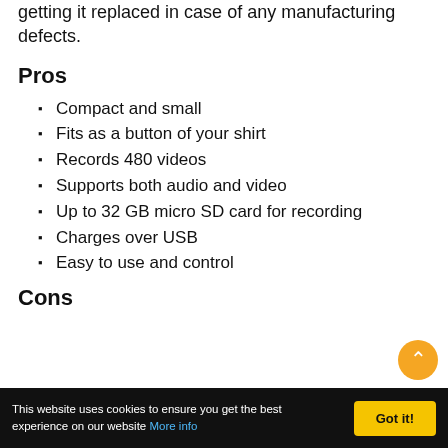getting it replaced in case of any manufacturing defects.
Pros
Compact and small
Fits as a button of your shirt
Records 480 videos
Supports both audio and video
Up to 32 GB micro SD card for recording
Charges over USB
Easy to use and control
Cons
This website uses cookies to ensure you get the best experience on our website More info  Got it!